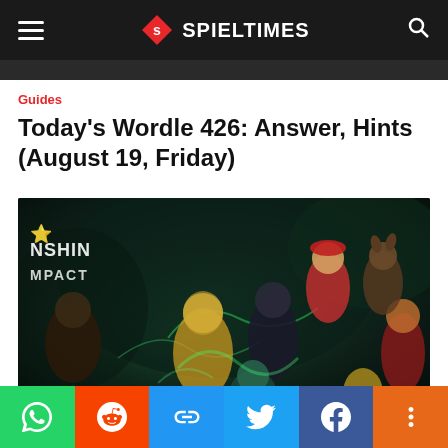SPIELTIMES
Guides
Today's Wordle 426: Answer, Hints (August 19, Friday)
[Figure (illustration): Genshin Impact promotional artwork featuring multiple anime-style characters in dynamic poses against a dark, swirling background. Text 'GENSHIN IMPACT' visible in upper left.]
Social share bar with WhatsApp, Reddit, Copy Link, Twitter, Facebook, and More buttons